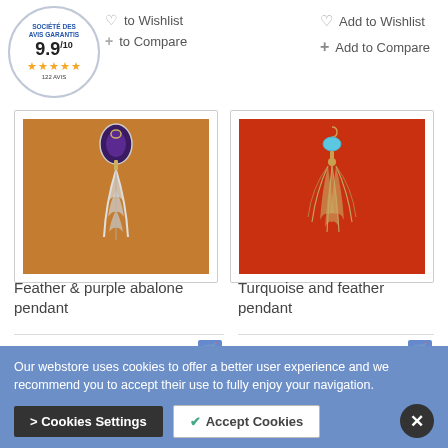[Figure (logo): Société des Avis Garantis badge showing 9.9/10 rating with 5 stars and 122 avis]
Add to Wishlist
Add to Compare
Add to Wishlist
Add to Compare
[Figure (photo): Feather and purple abalone pendant on brown leather background]
Feather & purple abalone pendant
39.00 €
[Figure (photo): Turquoise and feather pendant with three feathers on orange-red background]
Turquoise and feather pendant
41.00 €
Our webstore uses cookies to offer a better user experience and we recommend you to accept their use to fully enjoy your navigation.